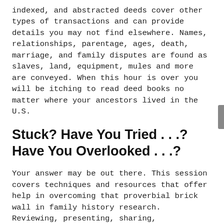indexed, and abstracted deeds cover other types of transactions and can provide details you may not find elsewhere. Names, relationships, parentage, ages, death, marriage, and family disputes are found as slaves, land, equipment, mules and more are conveyed. When this hour is over you will be itching to read deed books no matter where your ancestors lived in the U.S.
Stuck? Have You Tried . . .? Have You Overlooked . . .?
Your answer may be out there. This session covers techniques and resources that offer help in overcoming that proverbial brick wall in family history research. Reviewing, presenting, sharing, broadening, redoing, correcting, comparing, looking at new sources, and other ideas will be presented along with some true success stories. Genealogical problem solving involves the creative use of sources that many genealogists and historians neglect to use or don't know how to use. The...